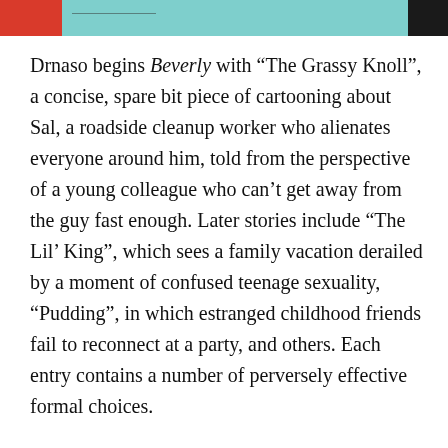Drnaso begins Beverly with “The Grassy Knoll”, a concise, spare bit piece of cartooning about Sal, a roadside cleanup worker who alienates everyone around him, told from the perspective of a young colleague who can’t get away from the guy fast enough. Later stories include “The Lil’ King”, which sees a family vacation derailed by a moment of confused teenage sexuality, “Pudding”, in which estranged childhood friends fail to reconnect at a party, and others. Each entry contains a number of perversely effective formal choices.
Drnaso works in something akin to the ligne claire style, never opting to vary the width of his thin, tidy linework, yet his pages don’t pursue the dynamism of clear-line masters like Hergé or Joost Swarte. Even